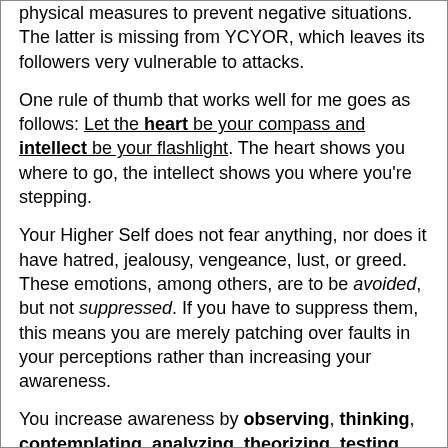physical measures to prevent negative situations. The latter is missing from YCYOR, which leaves its followers very vulnerable to attacks.
One rule of thumb that works well for me goes as follows: Let the heart be your compass and intellect be your flashlight. The heart shows you where to go, the intellect shows you where you're stepping.
Your Higher Self does not fear anything, nor does it have hatred, jealousy, vengeance, lust, or greed. These emotions, among others, are to be avoided, but not suppressed. If you have to suppress them, this means you are merely patching over faults in your perceptions rather than increasing your awareness.
You increase awareness by observing, thinking, contemplating, analyzing, theorizing, testing, feeling, and experiencing.
You will know that your positive emotions match your perceptions and awareness if it thrusts you into taking action that cuts off the source of an annoyance at its root, that gets you to change your reality via active participation.
Due to illusory limits and programmed misperceptions, most of us have a more negative outlook on life than necessary. A negative outlook is one that makes us feel we have more limits than are actually there.